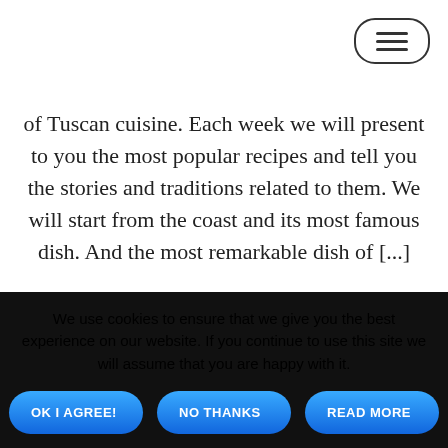[Figure (other): Hamburger menu button — three horizontal lines inside a rounded rectangle border]
of Tuscan cuisine. Each week we will present to you the most popular recipes and tell you the stories and traditions related to them. We will start from the coast and its most famous dish. And the most remarkable dish of [...]
READ MORE...
#cacciucco #Livorno #receptas
We use cookies to ensure that we give you the best experience on our website. If you continue to use this site we will assume that you are happy with it.
OK I AGREE!
NO THANKS
READ MORE